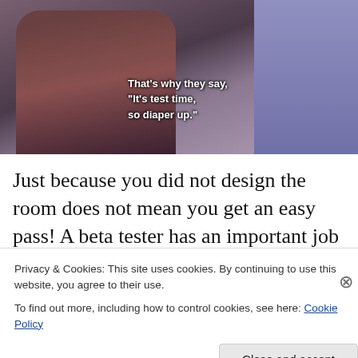[Figure (screenshot): TV show scene with a woman in a brown blazer smiling, subtitle text reads: That's why they say, "It's test time, so diaper up."]
Just because you did not design the room does not mean you get an easy pass! A beta tester has an important job to do and the best ones are able to cast a critical eye on the game while they play. And they are ruthless in their
Privacy & Cookies: This site uses cookies. By continuing to use this website, you agree to their use.
To find out more, including how to control cookies, see here: Cookie Policy
Close and accept